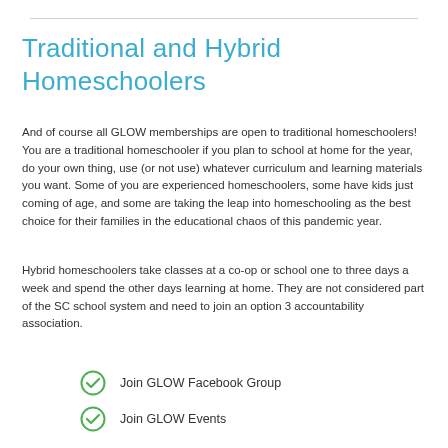Traditional and Hybrid Homeschoolers
And of course all GLOW memberships are open to traditional homeschoolers! You are a traditional homeschooler if you plan to school at home for the year, do your own thing, use (or not use) whatever curriculum and learning materials you want. Some of you are experienced homeschoolers, some have kids just coming of age, and some are taking the leap into homeschooling as the best choice for their families in the educational chaos of this pandemic year.
Hybrid homeschoolers take classes at a co-op or school one to three days a week and spend the other days learning at home. They are not considered part of the SC school system and need to join an option 3 accountability association.
Join GLOW Facebook Group
Join GLOW Events